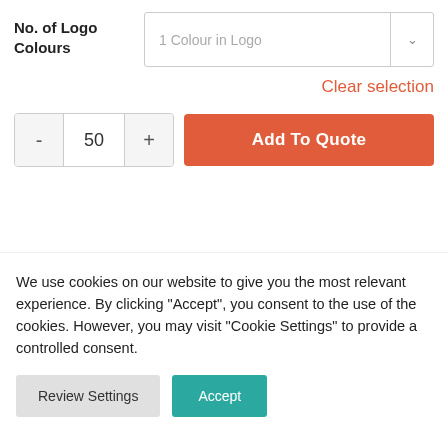No. of Logo Colours
1 Colour in Logo
Clear selection
- 50 +
Add To Quote
SKU: TSC105/7380
We use cookies on our website to give you the most relevant experience. By clicking "Accept", you consent to the use of the cookies. However, you may visit "Cookie Settings" to provide a controlled consent.
Review Settings
Accept